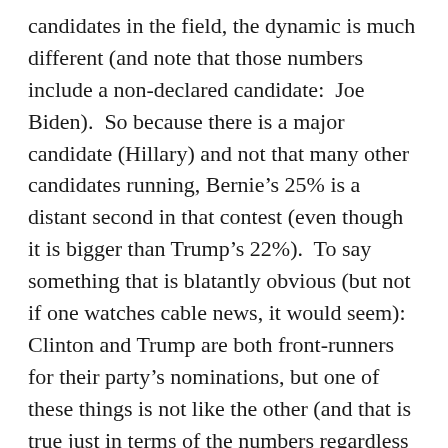candidates in the field, the dynamic is much different (and note that those numbers include a non-declared candidate:  Joe Biden).  So because there is a major candidate (Hillary) and not that many other candidates running, Bernie's 25% is a distant second in that contest (even though it is bigger than Trump's 22%).  To say something that is blatantly obvious (but not if one watches cable news, it would seem):  Clinton and Trump are both front-runners for their party's nominations, but one of these things is not like the other (and that is true just in terms of the numbers regardless of anything else).  I truly get the sense, both on what little exposure I get to cable news, as well as to treatment in other media (and even in the comment sections here at OTB) that a lot of people are assessing Trump's position (both positively and negatively) without the appropriate context.